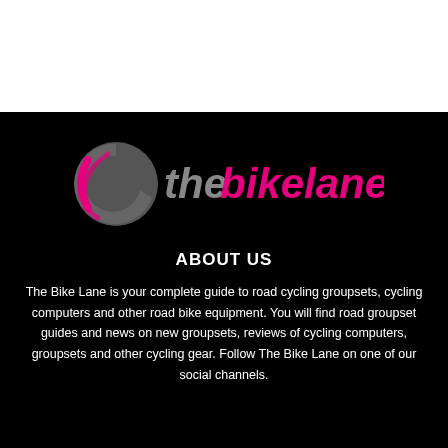[Figure (logo): The Bike Lane logo: a stylized pink and grey 'C' arc on the left, followed by text 'thebikelane' in grey and pink on a black background]
ABOUT US
The Bike Lane is your complete guide to road cycling groupsets, cycling computers and other road bike equipment. You will find road groupset guides and news on new groupsets, reviews of cycling computers, groupsets and other cycling gear. Follow The Bike Lane on one of our social channels.